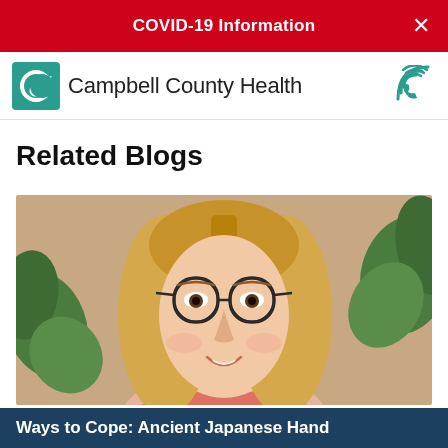COVID-19 Information
[Figure (logo): Campbell County Health logo with teal crescent C icon]
Related Blogs
[Figure (photo): Young woman with blonde hair and round glasses smiling, plants in background]
Ways to Cope: Ancient Japanese Hand